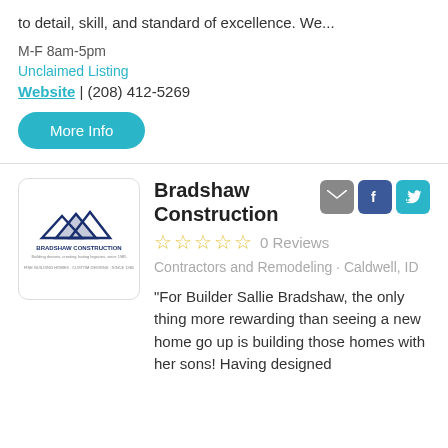to detail, skill, and standard of excellence. We...
M-F 8am-5pm
Unclaimed Listing
Website  |  (208) 412-5269
More Info
[Figure (logo): Bradshaw Construction company logo with house roof silhouettes and company tagline text]
Bradshaw Construction
0 Reviews
Contractors and Remodeling · Caldwell, ID
"For Builder Sallie Bradshaw, the only thing more rewarding than seeing a new home go up is building those homes with her sons! Having designed